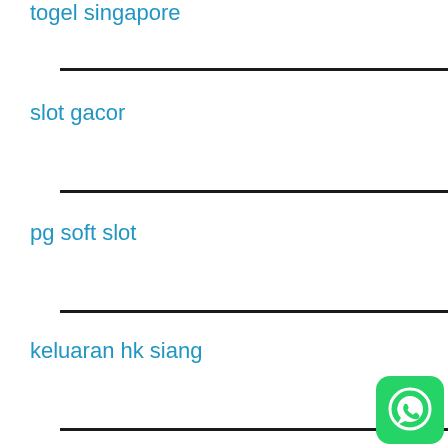togel singapore
slot gacor
pg soft slot
keluaran hk siang
[Figure (logo): WhatsApp green rounded square icon with white phone handset]